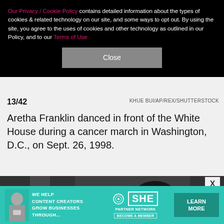Our Privacy / Cookie Policy contains detailed information about the types of cookies & related technology on our site, and some ways to opt out. By using the site, you agree to the uses of cookies and other technology as outlined in our Policy, and to our Terms of Use
Close
13/42
KHUE BUI/AP/REX/SHUTTERSTOCK
Aretha Franklin danced in front of the White House during a cancer march in Washington, D.C., on Sept. 26, 1998.
[Figure (photo): Black and white photo of two women, one singing expressively with mouth open wide]
WE HELP CONTENT CREATORS GROW BUSINESSES THROUGH... SHE PARTNER NETWORK BECOME A MEMBER LEARN MORE